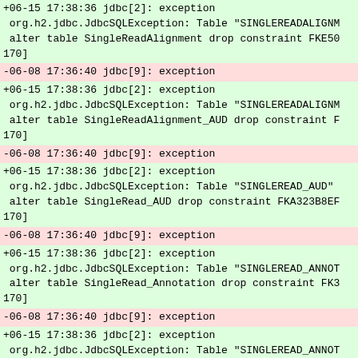+06-15 17:38:36 jdbc[2]: exception
 org.h2.jdbc.JdbcSQLException: Table "SINGLEREADALIGNM
 alter table SingleReadAlignment drop constraint FKE50
170]
-06-08 17:36:40 jdbc[9]: exception
+06-15 17:38:36 jdbc[2]: exception
 org.h2.jdbc.JdbcSQLException: Table "SINGLEREADALIGNM
 alter table SingleReadAlignment_AUD drop constraint F
170]
-06-08 17:36:40 jdbc[9]: exception
+06-15 17:38:36 jdbc[2]: exception
 org.h2.jdbc.JdbcSQLException: Table "SINGLEREAD_AUD"
 alter table SingleRead_AUD drop constraint FKA323B8EF
170]
-06-08 17:36:40 jdbc[9]: exception
+06-15 17:38:36 jdbc[2]: exception
 org.h2.jdbc.JdbcSQLException: Table "SINGLEREAD_ANNOT
 alter table SingleRead_Annotation drop constraint FK3
170]
-06-08 17:36:40 jdbc[9]: exception
+06-15 17:38:36 jdbc[2]: exception
 org.h2.jdbc.JdbcSQLException: Table "SINGLEREAD_ANNOT
 alter table SingleRead_Annotation drop constraint FK3
170]
-06-08 17:36:40 jdbc[9]: exception